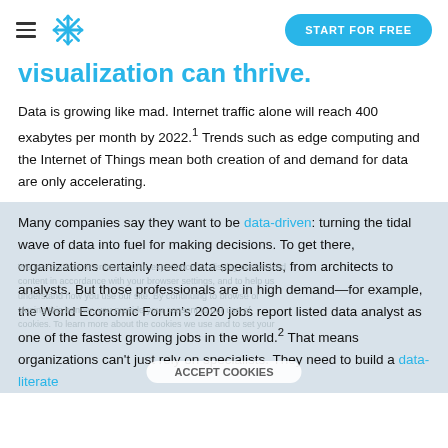[Snowflake logo] START FOR FREE
visualization can thrive.
Data is growing like mad. Internet traffic alone will reach 400 exabytes per month by 2022.¹ Trends such as edge computing and the Internet of Things mean both creation of and demand for data are only accelerating.
Many companies say they want to be data-driven: turning the tidal wave of data into fuel for making decisions. To get there, organizations certainly need data specialists, from architects to analysts. But those professionals are in high demand—for example, the World Economic Forum's 2020 jobs report listed data analyst as one of the fastest growing jobs in the world.² That means organizations can't just rely on specialists. They need to build a data-literate